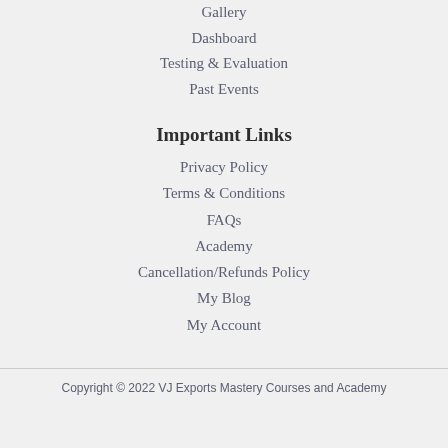Gallery
Dashboard
Testing & Evaluation
Past Events
Important Links
Privacy Policy
Terms & Conditions
FAQs
Academy
Cancellation/Refunds Policy
My Blog
My Account
Copyright © 2022 VJ Exports Mastery Courses and Academy